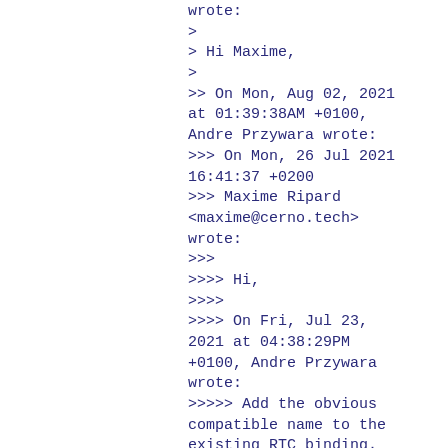wrote:
>
> Hi Maxime,
>
>> On Mon, Aug 02, 2021 at 01:39:38AM +0100, Andre Przywara wrote:
>>> On Mon, 26 Jul 2021 16:41:37 +0200
>>> Maxime Ripard <maxime@cerno.tech> wrote:
>>>
>>>> Hi,
>>>>
>>>> On Fri, Jul 23, 2021 at 04:38:29PM +0100, Andre Przywara wrote:
>>>>> Add the obvious compatible name to the existing RTC binding.
>>>>> The actual RTC part of the device uses a different day/month/year
>>>>> storage scheme, so it's not compatible with the previous devices.
>>>>> Also the clock